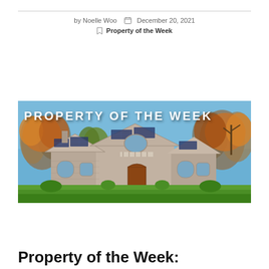by Noelle Woo  December 20, 2021
Property of the Week
Read More
[Figure (photo): Exterior photo of a stone house with solar panels on the roof, surrounded by autumn trees and a green lawn, with 'PROPERTY OF THE WEEK' text overlay at the top]
Property of the Week: